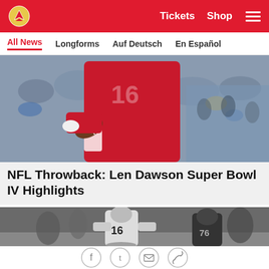Kansas City Chiefs – Tickets  Shop  [Menu]
All News  Longforms  Auf Deutsch  En Español
[Figure (photo): Color photo of Kansas City Chiefs quarterback #16 in red uniform throwing a football, crowd in background]
NFL Throwback: Len Dawson Super Bowl IV Highlights
[Figure (photo): Black and white photo of Kansas City Chiefs player #16 Len Dawson running on field during Super Bowl IV game]
Social share icons: Facebook, Twitter, Email, Link